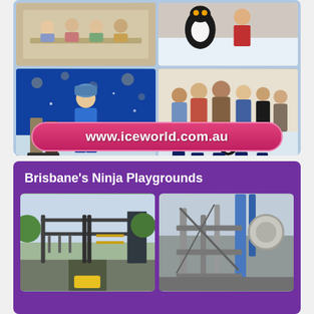[Figure (photo): Ice World advertisement with collage of 4 photos showing people ice skating, children holding hands on ice, group of friends at ice rink with penguin prop, and URL banner www.iceworld.com.au on pink/red pill-shaped background]
[Figure (photo): Brisbane's Ninja Playgrounds advertisement on purple background showing two photos of outdoor ninja playground equipment including monkey bars, rope courses, and metal climbing structures]
Brisbane's Ninja Playgrounds